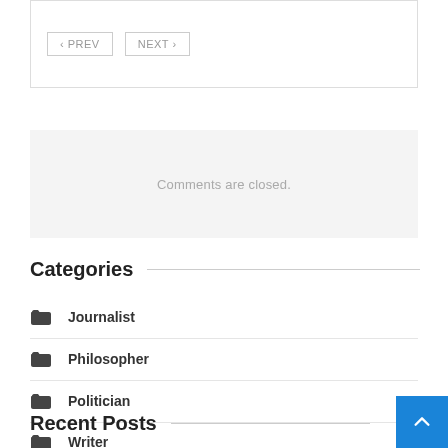< PREV   NEXT >
Comments are closed.
Categories
Journalist
Philosopher
Politician
Writer
Recent Posts